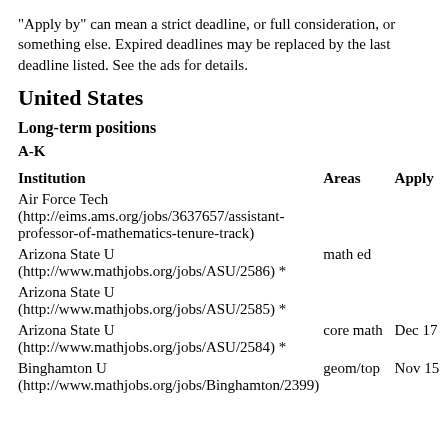"Apply by" can mean a strict deadline, or full consideration, or something else. Expired deadlines may be replaced by the last deadline listed. See the ads for details.
United States
Long-term positions
A-K
| Institution | Areas | Apply |
| --- | --- | --- |
| Air Force Tech (http://eims.ams.org/jobs/3637657/assistant-professor-of-mathematics-tenure-track) |  |  |
| Arizona State U (http://www.mathjobs.org/jobs/ASU/2586) * | math ed |  |
| Arizona State U (http://www.mathjobs.org/jobs/ASU/2585) * |  |  |
| Arizona State U (http://www.mathjobs.org/jobs/ASU/2584) * | core math | Dec 17 |
| Binghamton U (http://www.mathjobs.org/jobs/Binghamton/2399) | geom/top | Nov 15 |